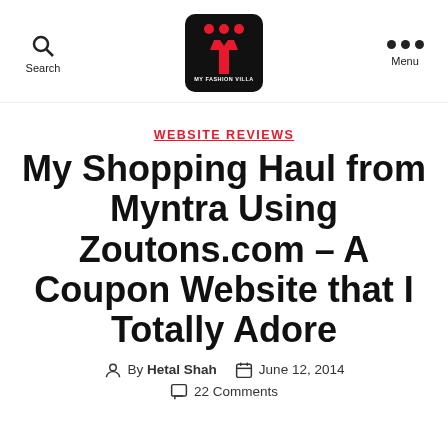Search | My Fashion Villa | Menu
WEBSITE REVIEWS
My Shopping Haul from Myntra Using Zoutons.com – A Coupon Website that I Totally Adore
By Hetal Shah  June 12, 2014
22 Comments